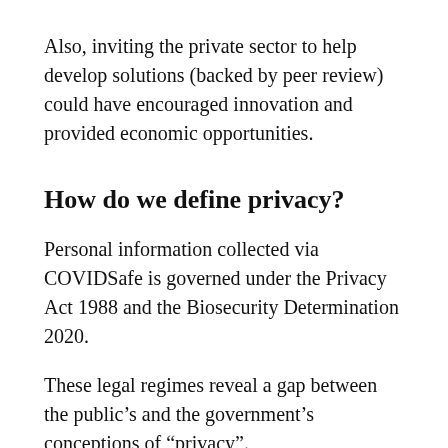Also, inviting the private sector to help develop solutions (backed by peer review) could have encouraged innovation and provided economic opportunities.
How do we define privacy?
Personal information collected via COVIDSafe is governed under the Privacy Act 1988 and the Biosecurity Determination 2020.
These legal regimes reveal a gap between the public’s and the government’s conceptions of “privacy”.